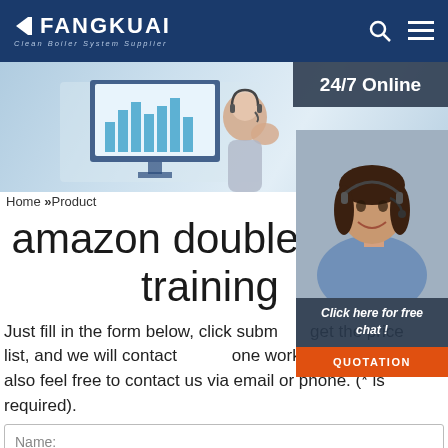FANGKUAI — Clean Boiler System Supplier
[Figure (photo): Hero banner with woman wearing headset at computer with chart on screen, and 24/7 Online customer service agent panel on the right]
Home »Product
amazon double-drum training
Just fill in the form below, click submit to get the price list, and we will contact you in one working day. Please also feel free to contact us via email or phone. (* is required).
Name:
Email: